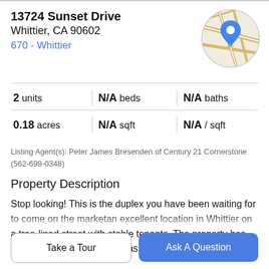13724 Sunset Drive
Whittier, CA 90602
670 - Whittier
[Figure (map): Circular map thumbnail showing street map with a blue location pin marker]
2 units | N/A beds | N/A baths
0.18 acres | N/A sqft | N/A / sqft
Listing Agent(s): Peter James Bresenden of Century 21 Cornerstone (562-698-0348)
Property Description
Stop looking! This is the duplex you have been waiting for to come on the marketan excellent location in Whittier on a tree-lined street with stable tenants. The property has been well maintained and has plenty of parking on the